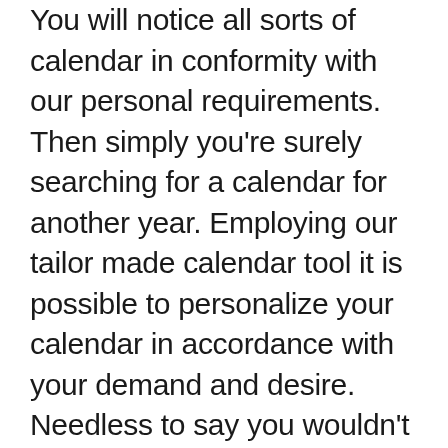You will notice all sorts of calendar in conformity with our personal requirements. Then simply you're surely searching for a calendar for another year. Employing our tailor made calendar tool it is possible to personalize your calendar in accordance with your demand and desire. Needless to say you wouldn't desire to must create a calendar from nothing. There are lots of ways to acquire an attractive calendar for the boyfriend, and using the web to undertake this means you never need to take into account the neighborhood copy go shopping seeing your images. In the event that you must gain a unuque calendar in mere five minutes, pick an acceptable formatting and design within the wizard. Obviously, additionally, you'll be able to make